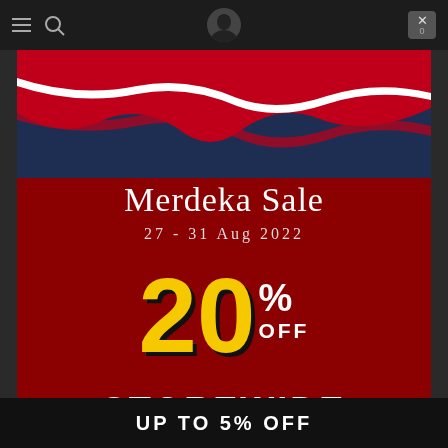[Figure (screenshot): Mobile website screenshot showing a Merdeka Sale promotional popup with dark navy top, red background, ribbon design, and sale text. Shows navigation bar at top with hamburger menu, search icon, and close button.]
Merdeka Sale
27 - 31 Aug 2022
20% OFF
STOREWIDE
UP TO 5% OFF